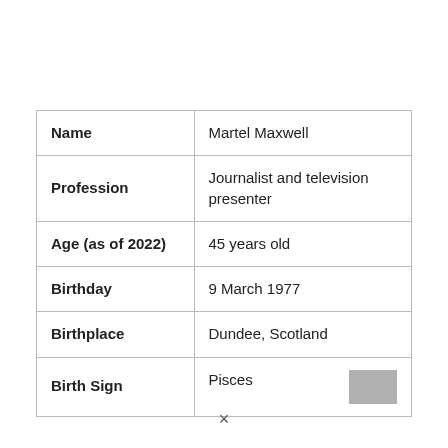| Name | Martel Maxwell |
| Profession | Journalist and television presenter |
| Age (as of 2022) | 45 years old |
| Birthday | 9 March 1977 |
| Birthplace | Dundee, Scotland |
| Birth Sign | Pisces |
×